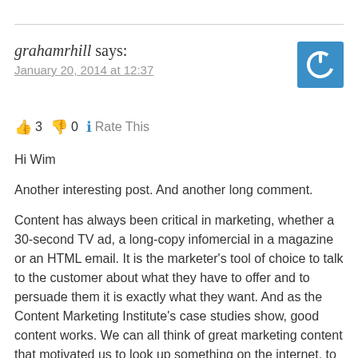grahamarhill says:
January 20, 2014 at 12:37
[Figure (illustration): Blue square avatar with a white power/on symbol (circle with a line at top)]
👍 3 👎 0 ℹ Rate This
Hi Wim

Another interesting post. And another long comment.

Content has always been critical in marketing, whether a 30-second TV ad, a long-copy infomercial in a magazine or an HTML email. It is the marketer's tool of choice to talk to the customer about what they have to offer and to persuade them it is exactly what they want. And as the Content Marketing Institute's case studies show, good content works. We can all think of great marketing content that motivated us to look up something on the internet, to buy something when we were walking down the supermarket aisle or to click through to an article offer...